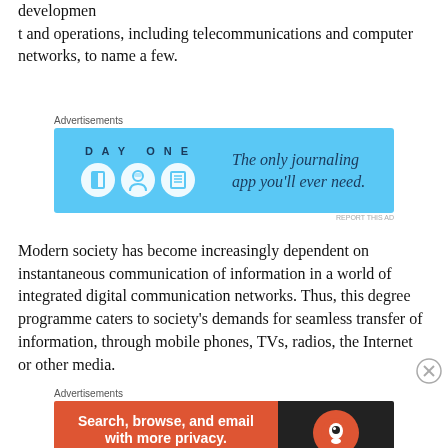development and operations, including telecommunications and computer networks, to name a few.
[Figure (screenshot): Advertisement banner for Day One journaling app. Blue background with 'DAY ONE' logo, three circular icons, and text 'The only journaling app you'll ever need.']
Modern society has become increasingly dependent on instantaneous communication of information in a world of integrated digital communication networks. Thus, this degree programme caters to society's demands for seamless transfer of information, through mobile phones, TVs, radios, the Internet or other media.
[Figure (screenshot): Advertisement banner for DuckDuckGo app. Left orange section reads 'Search, browse, and email with more privacy. All in One Free App'. Right dark section shows DuckDuckGo logo and name.]